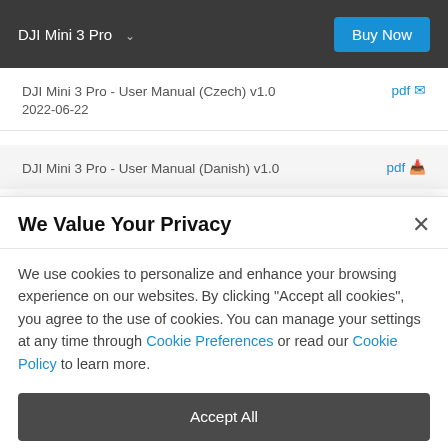DJI Mini 3 Pro   Buy Now
DJI Mini 3 Pro - User Manual (Czech) v1.0   pdf
2022-06-22
DJI Mini 3 Pro - User Manual (Danish) v1.0   pdf
We Value Your Privacy
We use cookies to personalize and enhance your browsing experience on our websites. By clicking "Accept all cookies", you agree to the use of cookies. You can manage your settings at any time through Cookie Preferences or read our Cookie Policy to learn more.
Accept All
Cookie Preferences